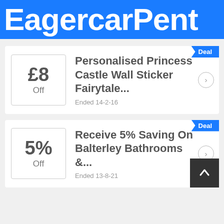EagercarPent
£8 Off
Personalised Princess Castle Wall Sticker Fairytale...
Ended 14-2-16
5% Off
Receive 5% Saving On Balterley Bathrooms &...
Ended 13-8-21